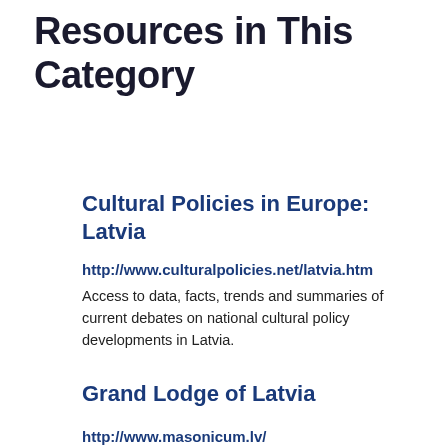Resources in This Category
Cultural Policies in Europe: Latvia
http://www.culturalpolicies.net/latvia.htm
Access to data, facts, trends and summaries of current debates on national cultural policy developments in Latvia.
Grand Lodge of Latvia
http://www.masonicum.lv/